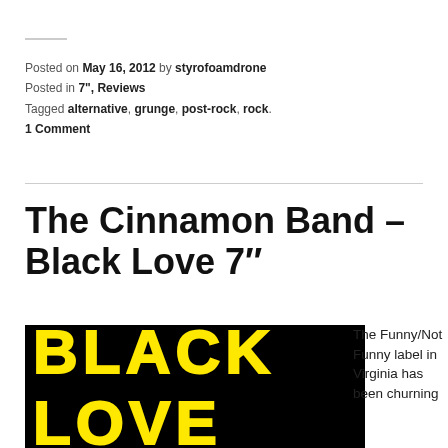Posted on May 16, 2012 by styrofoamdrone
Posted in 7", Reviews
Tagged alternative, grunge, post-rock, rock.
1 Comment
The Cinnamon Band – Black Love 7″
[Figure (photo): Album artwork for Black Love 7" by The Cinnamon Band — yellow background with 'BLACK LOVE' in large bold yellow text on black, partially visible at the bottom of the page.]
The Funny/Not Funny label in Virginia has been churning